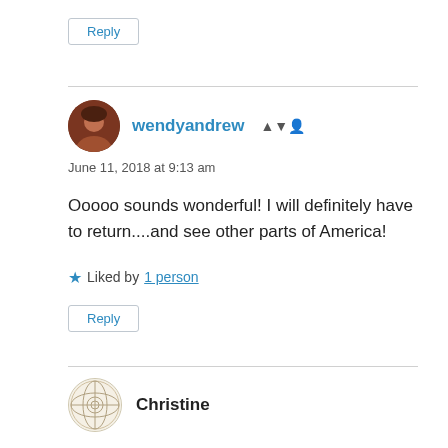Reply
wendyandrew
June 11, 2018 at 9:13 am
Ooooo sounds wonderful! I will definitely have to return....and see other parts of America!
Liked by 1 person
Reply
Christine